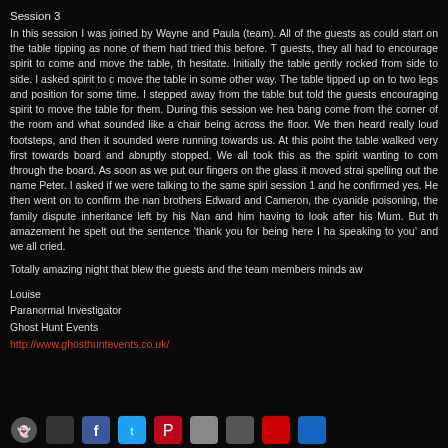Session 3
In this session I was joined by Wayne and Paula (team). All of the guests as could start on the table tipping as none of them had tried this before. T guests, they all had to encourage spirit to come and move the table, th hesitate. Initially the table gently rocked from side to side. I asked spirit to c move the table in some other way. The table tipped up on to two legs and position for some time. I stepped away from the table but told the guests encouraging spirit to move the table for them. During this session we hea bang come from the corner of the room and what sounded like a chair being across the floor. We then heard really loud footsteps, and then it sounded were running towards us. At this point the table walked very first towards board and abruptly stopped. We all took this as the spirit wanting to com through the board. As soon as we put our fingers on the glass it moved strai spelling out the name Peter. I asked if we were talking to the same spiri session 1 and he confirmed yes. He then went on to confirm the nan brothers Edward and Cameron, the cyanide poisoning, the family dispute inheritance left by his Nan and him having to look after his Mum. But th amazement he spelt out the sentence ‘thank you for being here I ha speaking to you’ and we all cried.
Totally amazing night that blew the guests and the team members minds aw
Louise
Paranormal Investigator
Ghost Hunt Events
http://www.ghosthuntevents.co.uk/
[Figure (other): Row of social media icon buttons at the bottom of the page]